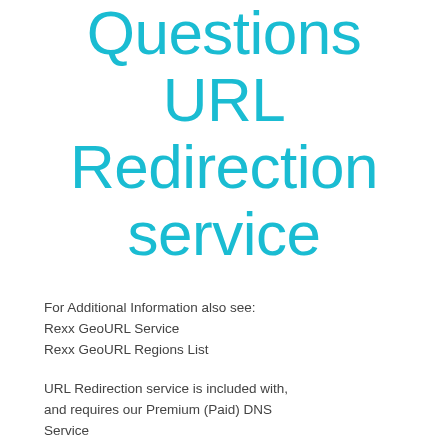Questions URL Redirection service
For Additional Information also see:
Rexx GeoURL Service
Rexx GeoURL Regions List

URL Redirection service is included with, and requires our Premium (Paid) DNS Service